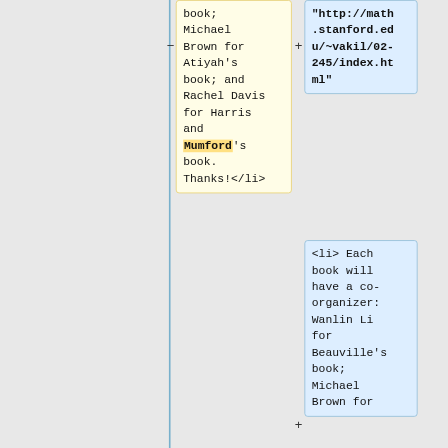book; Michael Brown for Atiyah's book; and Rachel Davis for Harris and Mumford's book. Thanks!</li>
"http://math.stanford.edu/~vakil/02-245/index.html"
<li> Each book will have a co-organizer: Wanlin Li for Beauville's book; Michael Brown for